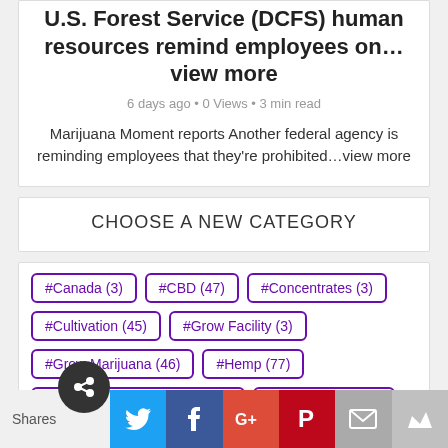U.S. Forest Service (DCFS) human resources remind employees on…view more
6 days ago • 0 Views • 3 min read
Marijuana Moment reports Another federal agency is reminding employees that they're prohibited…view more
CHOOSE A NEW CATEGORY
#Canada (3)
#CBD (47)
#Concentrates (3)
#Cultivation (45)
#Grow Facility (3)
#Grow Marijuana (46)
#Hemp (77)
#Legalize Marijuana Now (13)
#Marijuana (1811)
#Marijuana Banking (5)
#Marijuana Business (47)